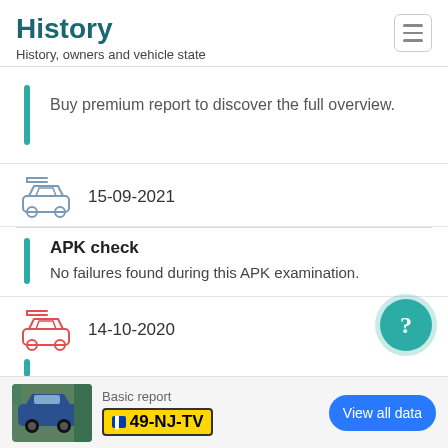History
History, owners and vehicle state
Buy premium report to discover the full overview.
15-09-2021
APK check
No failures found during this APK examination.
14-10-2020
Basic report
49-NJ-TV
View all data